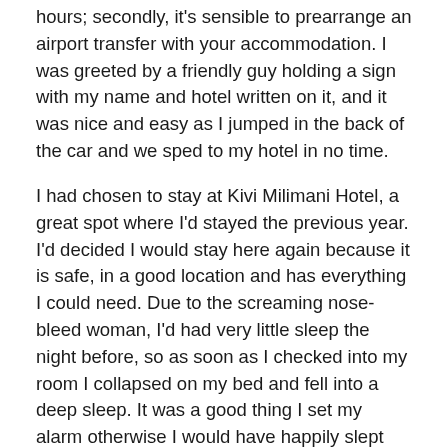hours; secondly, it's sensible to prearrange an airport transfer with your accommodation. I was greeted by a friendly guy holding a sign with my name and hotel written on it, and it was nice and easy as I jumped in the back of the car and we sped to my hotel in no time.
I had chosen to stay at Kivi Milimani Hotel, a great spot where I'd stayed the previous year. I'd decided I would stay here again because it is safe, in a good location and has everything I could need. Due to the screaming nose-bleed woman, I'd had very little sleep the night before, so as soon as I checked into my room I collapsed on my bed and fell into a deep sleep. It was a good thing I set my alarm otherwise I would have happily slept through and missed my first meeting with our volunteer coordinators! Our team in Kenya operate loads of exciting volunteer projects and interesting internships in and around Nairobi and I couldn't wait to find out more about them first hand.
After the meeting, I returned to the hotel and had an early night, heading to bed around 9:30pm. Despite the image...